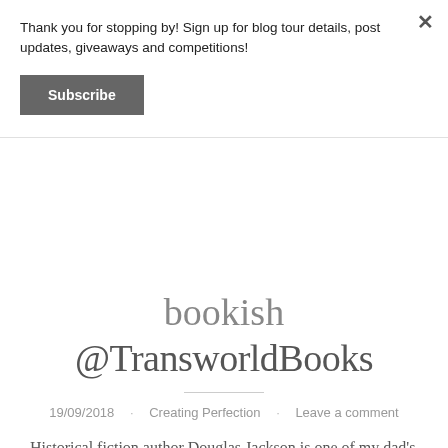Thank you for stopping by! Sign up for blog tour details, post updates, giveaways and competitions!
Subscribe
bookish @TransworldBooks
19/09/2018 · Creating Perfection · Leave a comment
Historical fiction author Douglas Jackson is one of my dad's favourite authors so I'm over the moon to welcome him to #ETLBW today to chat about his books and writing life. Thanks for joining me today, Doug. I'll jump straight in and ask what process do you follow for your writing? Are you a planner...
Continue reading